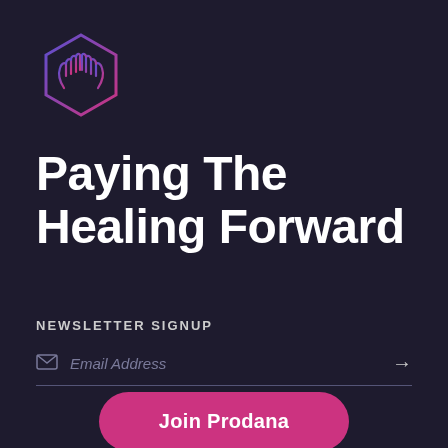[Figure (logo): Hexagon outline logo with stylized hands/leaves inside, gradient from blue-purple to pink]
Paying The Healing Forward
NEWSLETTER SIGNUP
Email Address
Join Prodana